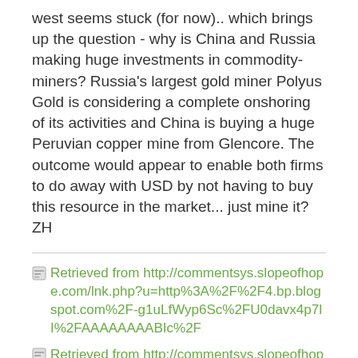west seems stuck (for now).. which brings up the question - why is China and Russia making huge investments in commodity-miners? Russia's largest gold miner Polyus Gold is considering a complete onshoring of its activities and China is buying a huge Peruvian copper mine from Glencore. The outcome would appear to enable both firms to do away with USD by not having to buy this resource in the market... just mine it? ZH
Retrieved from http://commentsys.slopeofhope.com/lnk.php?u=http%3A%2F%2F4.bp.blogspot.com%2F-g1uLfWyp6Sc%2FU0davx4p7lI%2FAAAAAAAABIc%2F
Retrieved from http://commentsys.slopeofhope.com/lnk.php?u=http%3A%2F%2F4.bp.blogspot.com%2F-g1uLfWyp6Sc%2FU0davx4p7lI%2FAAAAAAAABIc%2F